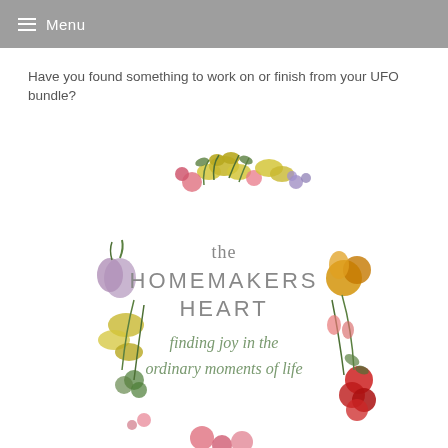Menu
Have you found something to work on or finish from your UFO bundle?
[Figure (logo): The Homemakers Heart logo — a watercolor floral wreath surrounding the text 'the HOMEMAKERS HEART finding joy in the ordinary moments of life']